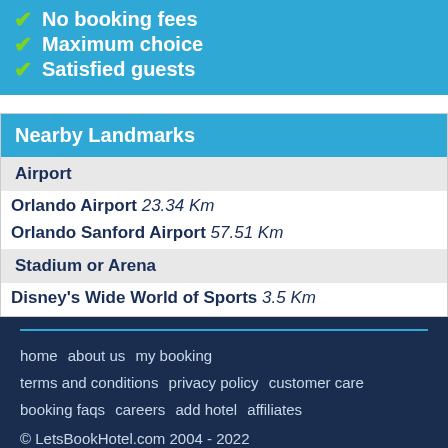No booking fees
Maximum choice
Satisfied guests
Nearby Landmarks
| Airport |  |
| Orlando Airport | 23.34 Km |
| Orlando Sanford Airport | 57.51 Km |
| Stadium or Arena |  |
| Disney's Wide World of Sports | 3.5 Km |
home   about us   my booking   terms and conditions   privacy policy   customer care   booking faqs   careers   add hotel   affiliates   © LetsBookHotel.com 2004 - 2022